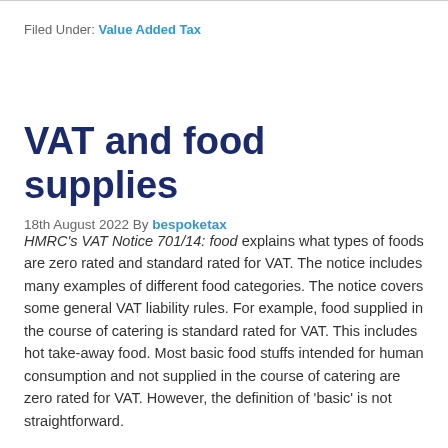Filed Under: Value Added Tax
VAT and food supplies
18th August 2022 By bespoketax
HMRC's VAT Notice 701/14: food explains what types of foods are zero rated and standard rated for VAT. The notice includes many examples of different food categories. The notice covers some general VAT liability rules. For example, food supplied in the course of catering is standard rated for VAT. This includes hot take-away food. Most basic food stuffs intended for human consumption and not supplied in the course of catering are zero rated for VAT. However, the definition of 'basic' is not straightforward.